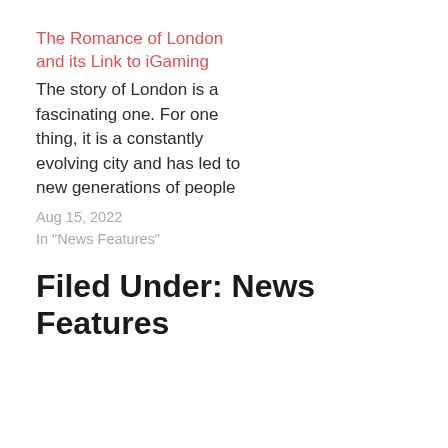The Romance of London and its Link to iGaming
The story of London is a fascinating one. For one thing, it is a constantly evolving city and has led to new generations of people
Aug 15, 2022
In "News Features"
Filed Under: News Features